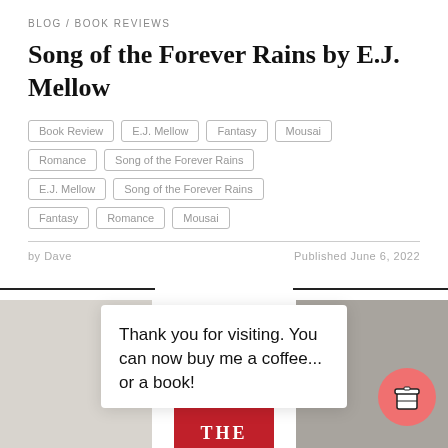BLOG / BOOK REVIEWS
Song of the Forever Rains by E.J. Mellow
Book Review | E.J. Mellow | Fantasy | Mousai
Romance | Song of the Forever Rains
E.J. Mellow | Song of the Forever Rains
Fantasy | Romance | Mousai
by Dave    Published June 6, 2022
Thank you for visiting. You can now buy me a coffee... or a book!